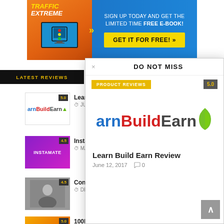[Figure (illustration): Traffic Extreme banner ad with book cover showing a monitor with traffic light, on orange background. Blue right panel reads 'SIGN UP TODAY AND GET THE LIMITED TIME FREE E-BOOK!' with yellow button 'GET IT FOR FREE! »']
LATEST REVIEWS
[Figure (logo): Learn Build Earn logo (arnBuildEarn) with blue, red, dark text and green leaf]
Learn B…
JUNE 12…
[Figure (photo): Instamate thumbnail - purple gradient with INSTAMATE text]
Instama…
MARCH…
[Figure (photo): Connect thumbnail - person in dark shirt]
Connec…
DECEM…
[Figure (photo): 100k Earn thumbnail - orange/red gradient]
100k Ea…
DO NOT MISS modal overlay
DO NOT MISS
PRODUCT REVIEWS
[Figure (logo): arnBuildEarn large logo with blue arn, red Build, dark Earn, green leaf]
Learn Build Earn Review
June 12, 2017    0